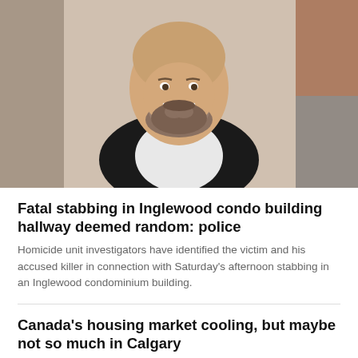[Figure (photo): Portrait photo of a bald man with a beard, smiling, wearing a dark blazer and white shirt. Background is blurred with orange and neutral tones.]
Fatal stabbing in Inglewood condo building hallway deemed random: police
Homicide unit investigators have identified the victim and his accused killer in connection with Saturday's afternoon stabbing in an Inglewood condominium building.
Canada's housing market cooling, but maybe not so much in Calgary